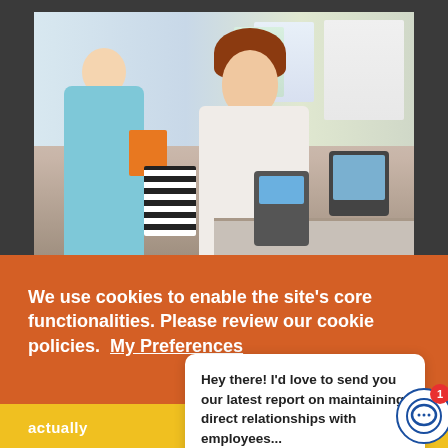[Figure (photo): Retail store checkout scene: female cashier with long red-brown hair handing a striped shopping bag to a male customer (seen from behind) wearing a light blue shirt. Payment terminal and monitor visible on counter. Store shelves with clothing in background.]
We use cookies to enable the site's core functionalities. Please review our cookie policies.  My Preferences
[Figure (screenshot): Chat popup overlay reading: 'Hey there! I'd love to send you our latest report on maintaining direct relationships with employees...' with a close/X button and chat icon with notification badge '1'.]
actually